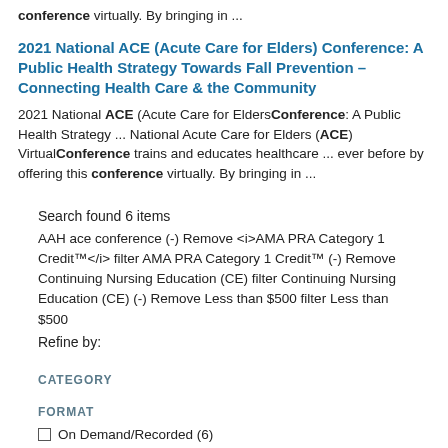conference virtually. By bringing in ...
2021 National ACE (Acute Care for Elders) Conference: A Public Health Strategy Towards Fall Prevention – Connecting Health Care & the Community
2021 National ACE (Acute Care for Elders) Conference: A Public Health Strategy ... National Acute Care for Elders (ACE) Virtual Conference trains and educates healthcare ... ever before by offering this conference virtually. By bringing in ...
Search found 6 items
AAH ace conference (-) Remove <i>AMA PRA Category 1 Credit™</i> filter AMA PRA Category 1 Credit™ (-) Remove Continuing Nursing Education (CE) filter Continuing Nursing Education (CE) (-) Remove Less than $500 filter Less than $500
Refine by:
CATEGORY
FORMAT
On Demand/Recorded (6)